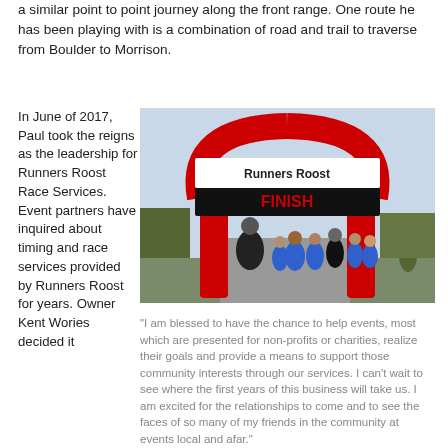a similar point to point journey along the front range. One route he has been playing with is a combination of road and trail to traverse from Boulder to Morrison.
In June of 2017, Paul took the reigns as the leadership for Runners Roost Race Services. Event partners have inquired about timing and race services provided by Runners Roost for years. Owner Kent Wories decided it
[Figure (photo): Runners crossing a finish line arch labeled 'Runners Roost FINISH' during a race event. Many participants in blue shirts are visible running through the inflatable red and white arch.]
"I am blessed to have the chance to help events, most which are presented for non-profits or charities, realize their goals and provide a means to support those community interests through our services. I can't wait to see where the first years of this business will take us. I am excited for the relationships to come and to see the faces of so many of my friends in the community at events local and afar."